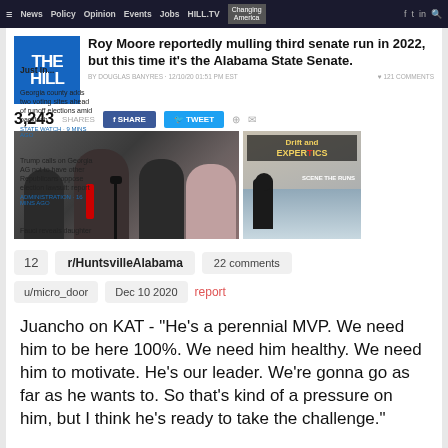News | Policy | Opinion | Events | Jobs | HILL.TV | Changing America
[Figure (screenshot): The Hill news article screenshot showing Roy Moore headline with logo, share count 3,243, photo of Roy Moore at podium with supporters, and advertisement image]
Just In...
Georgia county adds two voting sites ahead of runoff elections amid backlash
Trump calls on Georgia AG not to have other Republicans oppose election lawsuit: report
Fauci reveals daughter
Roy Moore reportedly mulling third senate run in 2022, but this time it's the Alabama State Senate.
3,243 shares
12   r/HuntsvilleAlabama   22 comments
u/micro_door   Dec 10 2020   report
Juancho on KAT - "He's a perennial MVP. We need him to be here 100%. We need him healthy. We need him to motivate. He's our leader. We're gonna go as far as he wants to. So that's kind of a pressure on him, but I think he's ready to take the challenge."